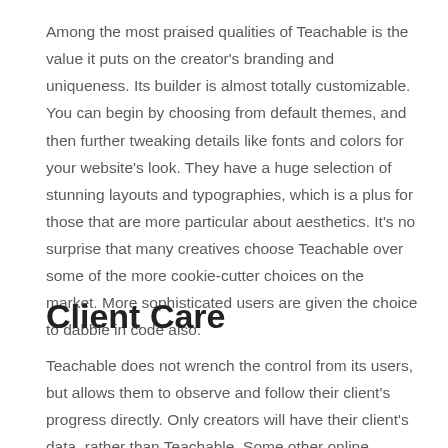Among the most praised qualities of Teachable is the value it puts on the creator's branding and uniqueness. Its builder is almost totally customizable. You can begin by choosing from default themes, and then further tweaking details like fonts and colors for your website's look. They have a huge selection of stunning layouts and typographies, which is a plus for those that are more particular about aesthetics. It's no surprise that many creatives choose Teachable over some of the more cookie-cutter choices on the market. More sophisticated users are given the choice to dabble in code also.
Client Care
Teachable does not wrench the control from its users, but allows them to observe and follow their client's progress directly. Only creators will have their client's data, rather than Teachable. Some other online marketplaces overdo their involvement, and control